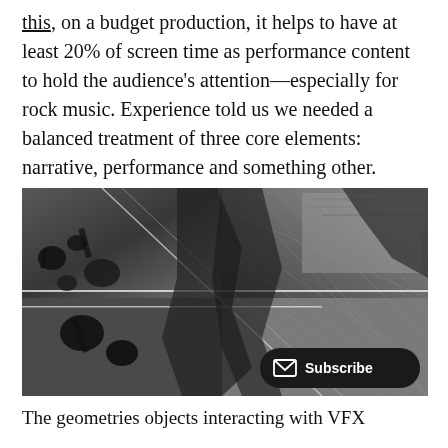this, on a budget production, it helps to have at least 20% of screen time as performance content to hold the audience's attention—especially for rock music. Experience told us we needed a balanced treatment of three core elements: narrative, performance and something other.
[Figure (photo): Black and white overhead/aerial photo of musicians performing, with geometric VFX overlay lines. A dark pill-shaped button with envelope icon and 'Subscribe' text is overlaid in the bottom right corner.]
The geometries objects interacting with VFX